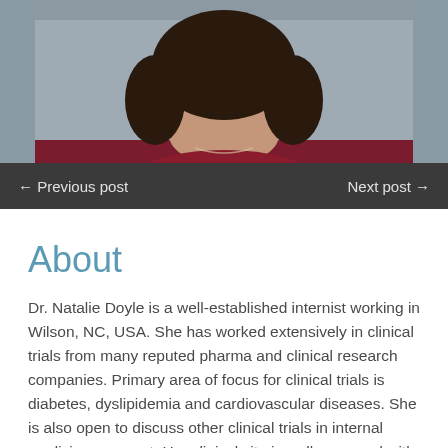[Figure (photo): Partial photo of a woman wearing a dark red/maroon top, cropped to show shoulders and neck area, with a muted blue-grey background]
← Previous post    Next post →
About
Dr. Natalie Doyle is a well-established internist working in Wilson, NC, USA. She has worked extensively in clinical trials from many reputed pharma and clinical research companies. Primary area of focus for clinical trials is diabetes, dyslipidemia and cardiovascular diseases. She is also open to discuss other clinical trials in internal medicine segment. Her clinical site is well-managed with clinical study coordinator teams and equipped with modern infrastructure.